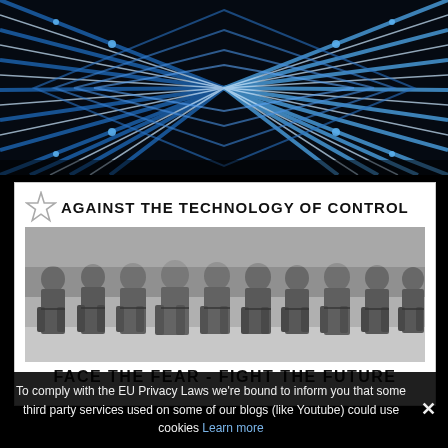[Figure (photo): Abstract geometric pattern of blue metallic tubes or beams arranged in a symmetrical diamond/chevron pattern on a black background]
AGAINST THE TECHNOLOGY OF CONTROL
[Figure (photo): Grayscale photograph of a row of riot police officers in full protective gear including helmets and body armor, standing in a line]
FACE THE FEAR - FIGHT THE FUTURE
To comply with the EU Privacy Laws we're bound to inform you that some third party services used on some of our blogs (like Youtube) could use cookies Learn more